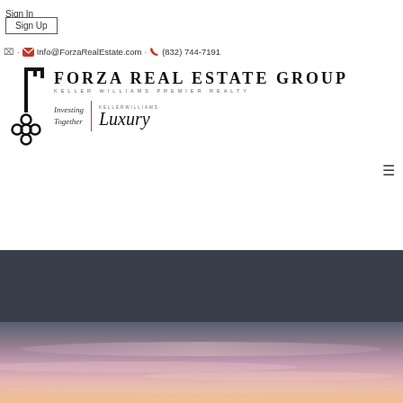Sign In
Sign Up
· Info@ForzaRealEstate.com · (832) 744-7191
[Figure (logo): Forza Real Estate Group logo with Keller Williams Premier Realty branding, key icon, Investing Together tagline, and Keller Williams Luxury logo]
[Figure (photo): Dark band and sunset sky image with pink and purple horizon tones]